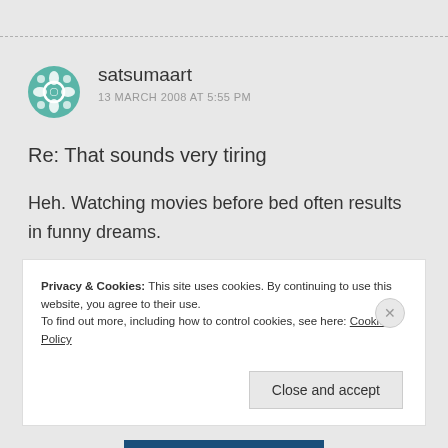[Figure (illustration): Teal/green decorative circular avatar icon for user satsumaart]
satsumaart
13 MARCH 2008 AT 5:55 PM
Re: That sounds very tiring
Heh. Watching movies before bed often results in funny dreams.
I like the idea of you as one of the best sprinters!
Privacy & Cookies: This site uses cookies. By continuing to use this website, you agree to their use.
To find out more, including how to control cookies, see here: Cookie Policy
Close and accept